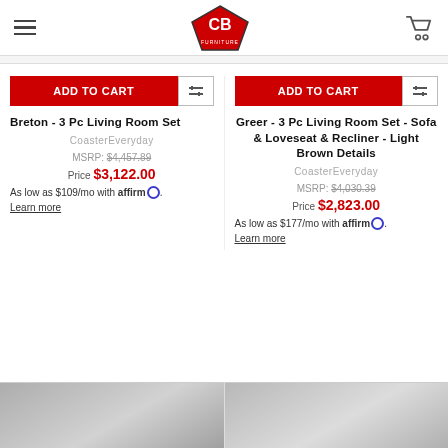CB Furniture logo header with hamburger menu and shopping cart
ADD TO CART
Breton - 3 Pc Living Room Set
CoasterEveryday
MSRP: $4,457.89
Price $3,122.00
As low as $109/mo with affirm.
Learn more
ADD TO CART
Greer - 3 Pc Living Room Set - Sofa & Loveseat & Recliner - Light Brown Details
CoasterEveryday
MSRP: $4,030.39
Price $2,823.00
As low as $177/mo with affirm.
Learn more
[Figure (photo): Bottom strip showing partial product images of living room furniture sets in grayscale]